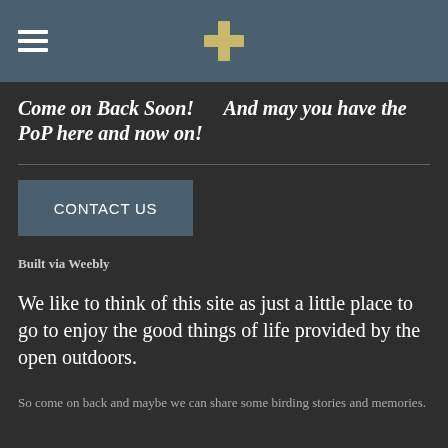Come on Back Soon!      And may you have the PoP here and now on!
CONTACT US
Built via Weebly
We like to think of this site as just a little place to go to enjoy the good things of life provided by the open outdoors.
So come on back and maybe we can share some birding stories and memories.